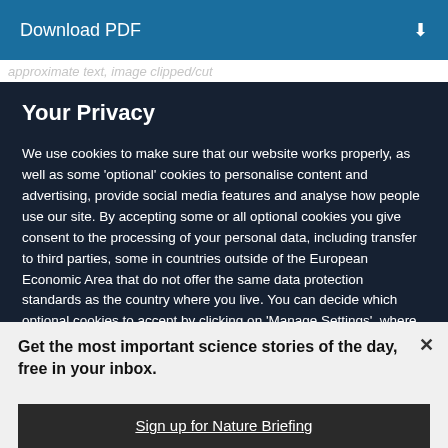Download PDF
approximate text, image clipped/cut
Your Privacy
We use cookies to make sure that our website works properly, as well as some ‘optional’ cookies to personalise content and advertising, provide social media features and analyse how people use our site. By accepting some or all optional cookies you give consent to the processing of your personal data, including transfer to third parties, some in countries outside of the European Economic Area that do not offer the same data protection standards as the country where you live. You can decide which optional cookies to accept by clicking on ‘Manage Settings’, where you can also find more information about how your personal data is
Get the most important science stories of the day, free in your inbox.
Sign up for Nature Briefing